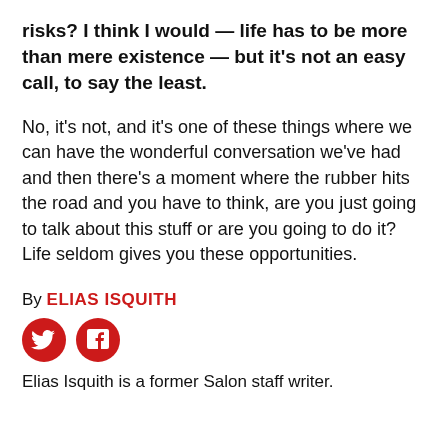risks? I think I would — life has to be more than mere existence — but it's not an easy call, to say the least.
No, it's not, and it's one of these things where we can have the wonderful conversation we've had and then there's a moment where the rubber hits the road and you have to think, are you just going to talk about this stuff or are you going to do it? Life seldom gives you these opportunities.
By ELIAS ISQUITH
Elias Isquith is a former Salon staff writer.